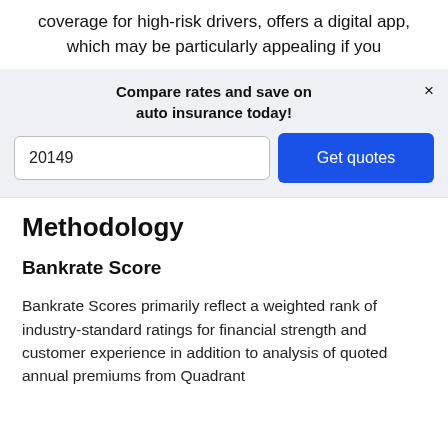coverage for high-risk drivers, offers a digital app, which may be particularly appealing if you
[Figure (screenshot): UI banner with 'Compare rates and save on auto insurance today!' heading, a zip code input field showing '20149', and a blue 'Get quotes' button, with an X close button in the top right corner]
Methodology
Bankrate Score
Bankrate Scores primarily reflect a weighted rank of industry-standard ratings for financial strength and customer experience in addition to analysis of quoted annual premiums from Quadrant